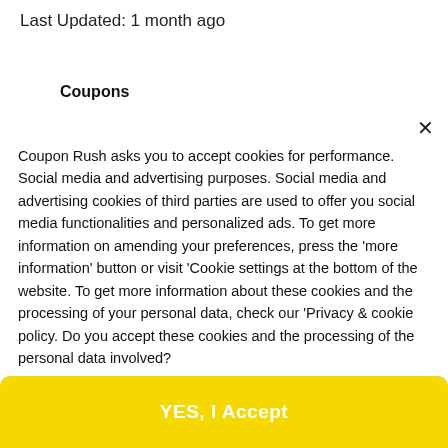Last Updated: 1 month ago
Coupons
Coupon Rush asks you to accept cookies for performance. Social media and advertising purposes. Social media and advertising cookies of third parties are used to offer you social media functionalities and personalized ads. To get more information on amending your preferences, press the 'more information' button or visit 'Cookie settings at the bottom of the website. To get more information about these cookies and the processing of your personal data, check our 'Privacy & cookie policy. Do you accept these cookies and the processing of the personal data involved?
YES, I Accept